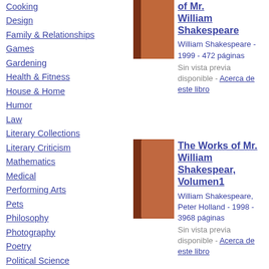Cooking
Design
Family & Relationships
Games
Gardening
Health & Fitness
House & Home
Humor
Law
Literary Collections
Literary Criticism
Mathematics
Medical
Performing Arts
Pets
Philosophy
Photography
Poetry
Political Science
Psychology
Religion
Self-Help
[Figure (illustration): Book cover for The Works of Mr. William Shakespeare, reddish-brown book spine visible]
of Mr. William Shakespeare
William Shakespeare - 1999 - 472 páginas
Sin vista previa disponible - Acerca de este libro
[Figure (illustration): Book cover for The Works of Mr. William Shakespear, Volumen1, reddish-brown book with spine]
The Works of Mr. William Shakespear, Volumen1
William Shakespeare, Peter Holland - 1998 - 3968 páginas
Sin vista previa disponible - Acerca de este libro